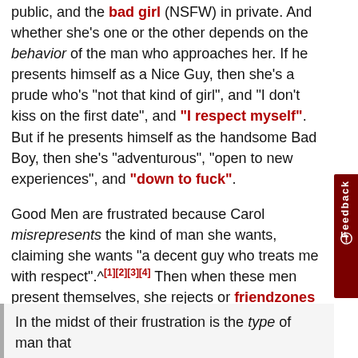public, and the "bad girl" (NSFW) in private. And whether she's one or the other depends on the behavior of the man who approaches her. If he presents himself as a Nice Guy, then she's a prude who's "not that kind of girl", and "I don't kiss on the first date", and "I respect myself". But if he presents himself as the handsome Bad Boy, then she's "adventurous", "open to new experiences", and "down to fuck".
Good Men are frustrated because Carol misrepresents the kind of man she wants, claiming she wants "a decent guy who treats me with respect".^[1][2][3][4] Then when these men present themselves, she rejects or friendzones them and dates jerks and bad boys instead, which suggests that women are more attracted to a man's looks and "bad boy" behavior rather than how nice he treats her. She says one thing and does another (NSFW), all with her hamster's full support.
In the midst of their frustration is the type of man that